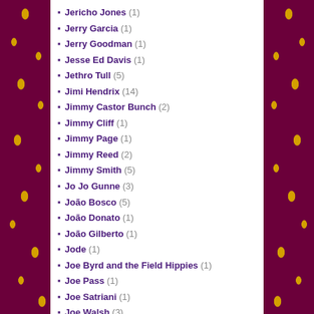Jericho Jones (1)
Jerry Garcia (1)
Jerry Goodman (1)
Jesse Ed Davis (1)
Jethro Tull (5)
Jimi Hendrix (14)
Jimmy Castor Bunch (2)
Jimmy Cliff (1)
Jimmy Page (1)
Jimmy Reed (2)
Jimmy Smith (5)
Jo Jo Gunne (3)
João Bosco (5)
João Donato (1)
João Gilberto (1)
Jode (1)
Joe Byrd and the Field Hippies (1)
Joe Pass (1)
Joe Satriani (1)
Joe Walsh (3)
Joelho de Porco (1)